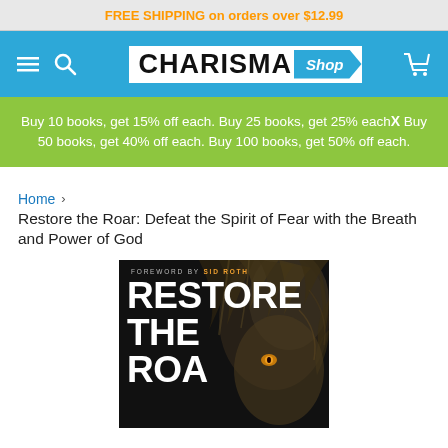FREE SHIPPING on orders over $12.99
[Figure (logo): CHARISMA Shop logo on blue navigation bar with hamburger menu, search icon, and cart icon]
Buy 10 books, get 15% off each. Buy 25 books, get 25% each. Buy 50 books, get 40% off each. Buy 100 books, get 50% off each.
Home > Restore the Roar: Defeat the Spirit of Fear with the Breath and Power of God
[Figure (photo): Book cover for 'Restore the Roar' showing a lion's face with bold white text. Foreword by Sid Roth shown in orange text.]